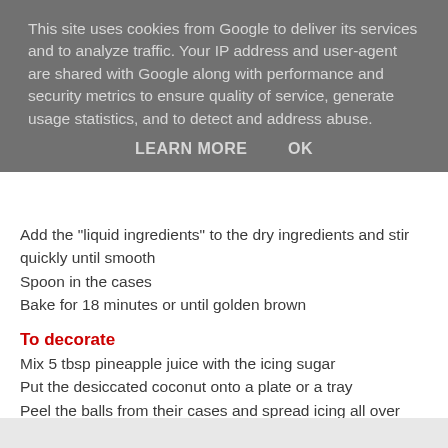This site uses cookies from Google to deliver its services and to analyze traffic. Your IP address and user-agent are shared with Google along with performance and security metrics to ensure quality of service, generate usage statistics, and to detect and address abuse.
LEARN MORE   OK
Add the "liquid ingredients" to the dry ingredients and stir quickly until smooth
Spoon in the cases
Bake for 18 minutes or until golden brown
To decorate
Mix 5 tbsp pineapple juice with the icing sugar
Put the desiccated coconut onto a plate or a tray
Peel the balls from their cases and spread icing all over each one. It will get very messy
Roll each  ball in the coconut shreds and decorate with the items of your choice.